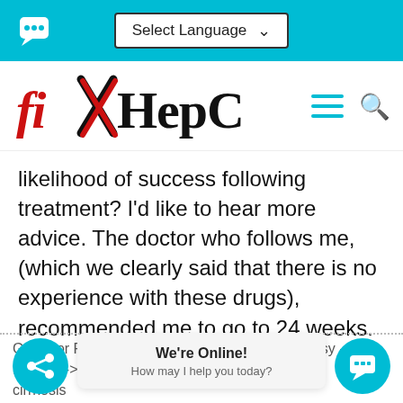Select Language
[Figure (logo): fixHepC logo with red X through the i]
likelihood of success following treatment? I'd like to hear more advice. The doctor who follows me, (which we clearly said that there is no experience with these drugs), recommended me to go to 24 weeks.
G1 F1 or F4 (I am not sure) 6. jan. 2014. -> Biopsy - ... 2015 -> Fibroscan 16.3 kPa -> indicate... cirrhosis